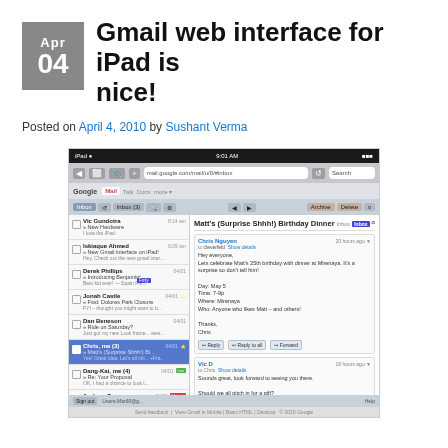Gmail web interface for iPad is nice!
Posted on April 4, 2010 by Sushant Verma
[Figure (screenshot): Screenshot of Gmail web interface running on an iPad browser, showing an email list on the left and an email thread on the right. The thread shows Matt's Surprise Birthday Dinner emails between Chris Nguyen, Vic D, and others.]